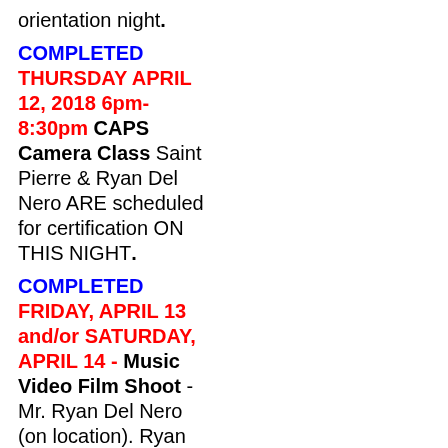orientation night.
COMPLETED THURSDAY APRIL 12, 2018 6pm-8:30pm CAPS Camera Class  Saint Pierre & Ryan Del Nero ARE scheduled for certification ON THIS NIGHT.
COMPLETED FRIDAY, APRIL 13 and/or SATURDAY, APRIL 14 - Music Video Film Shoot - Mr. Ryan Del Nero (on location). Ryan would